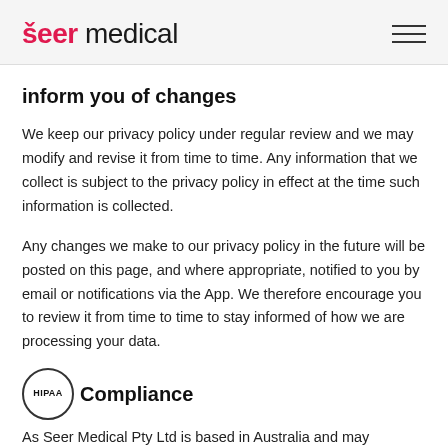Seer Medical
inform you of changes
We keep our privacy policy under regular review and we may modify and revise it from time to time. Any information that we collect is subject to the privacy policy in effect at the time such information is collected.
Any changes we make to our privacy policy in the future will be posted on this page, and where appropriate, notified to you by email or notifications via the App. We therefore encourage you to review it from time to time to stay informed of how we are processing your data.
HIPAA Compliance
As Seer Medical Pty Ltd is based in Australia and may